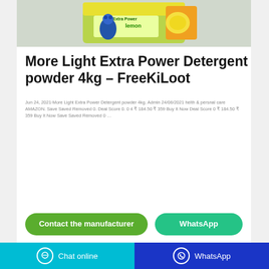[Figure (photo): Product image of More Light Extra Power Detergent powder 4kg package with lemon branding, yellow and green packaging on grey background]
More Light Extra Power Detergent powder 4kg – FreeKiLoot
Jun 24, 2021·More Light Extra Power Detergent powder 4kg. Admin 24/06/2021 helth & persnal care AMAZON. Save Saved Removed 0. Deal Score 0. 0 4 ₹ 184.50 ₹ 359 Buy It Now Deal Score 0 ₹ 184.50 ₹ 359 Buy It Now Save Saved Removed 0 …
Contact the manufacturer
WhatsApp
Chat online   WhatsApp